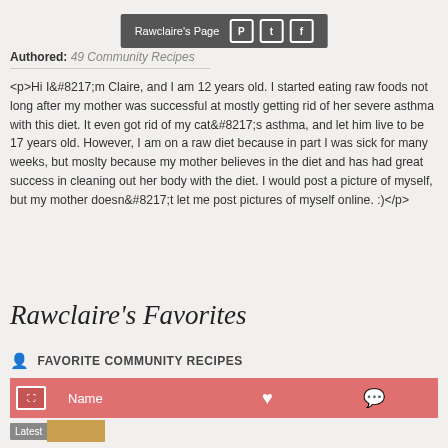Rawclaire's Page
Authored: 49 Community Recipes
<p>Hi I&#8217;m Claire, and I am 12 years old. I started eating raw foods not long after my mother was successful at mostly getting rid of her severe asthma with this diet. It even got rid of my cat&#8217;s asthma, and let him live to be 17 years old. However, I am on a raw diet because in part I was sick for many weeks, but moslty because my mother believes in the diet and has had great success in cleaning out her body with the diet. I would post a picture of myself, but my mother doesn&#8217;t let me post pictures of myself online. :)</p>
Rawclaire's Favorites
FAVORITE COMMUNITY RECIPES
|  | Name | ♥ | 💬 |
| --- | --- | --- | --- |